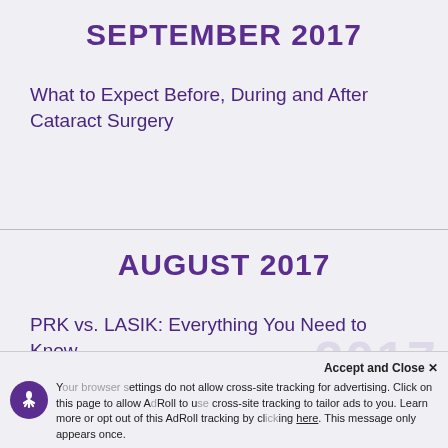SEPTEMBER 2017
What to Expect Before, During and After Cataract Surgery
AUGUST 2017
PRK vs. LASIK: Everything You Need to Know
Accept and Close ✕ Your browser settings do not allow cross-site tracking for advertising. Click on this page to allow AdRoll to use cross-site tracking to tailor ads to you. Learn more or opt out of this AdRoll tracking by clicking here. This message only appears once.